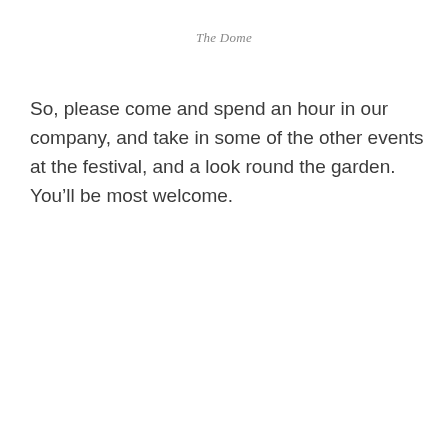The Dome
So, please come and spend an hour in our company, and take in some of the other events at the festival, and a look round the garden. You’ll be most welcome.